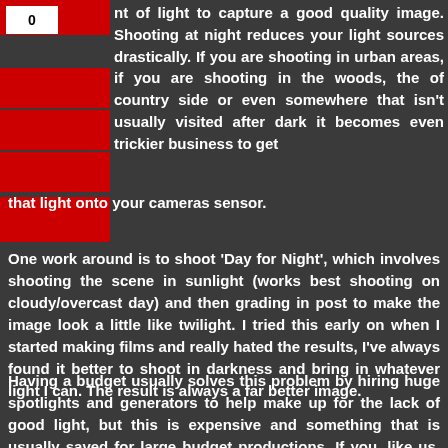nt of light to capture a good quality image. Shooting at night reduces your light sources drastically. If you are shooting in urban areas, if you are shooting in the woods, the of country side or even somewhere that isn't usually visited after dark it becomes even trickier business to get that light onto your cameras sensor.
One work around is to shoot 'Day for Night', which involves shooting the scene in sunlight (works best shooting on cloudy/overcast day) and then grading in post to make the image look a little like twilight. I tried this early on when I started making films and really hated the results, I've always found it better to shoot in darkness and bring in whatever light I can. The result is always a far better image.
Having a budget usually solves this problem by hiring huge spotlights and generators to help make up for the lack of good light, but this is expensive and something that is usually saved for large budget productions. If you, like us, are usually make stuff on spit and buttons, then you'll need to come up with some creative solutions to salvage a good looking film.